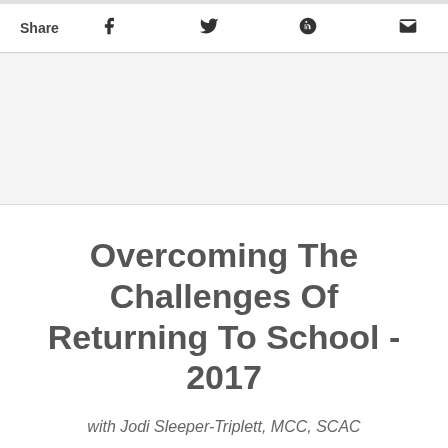Share
[Figure (other): Advertisement/image placeholder block]
Overcoming The Challenges Of Returning To School - 2017
with Jodi Sleeper-Triplett, MCC, SCAC